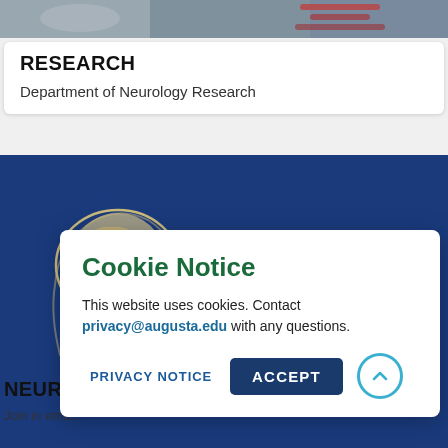[Figure (photo): Top banner image showing laboratory or medical equipment, partially cropped at top of page]
RESEARCH
Department of Neurology Research
[Figure (photo): Neurology department banner with blue background, brain illustration on left and orange text reading 'Neurology' on right]
NEURO
Join in ema... around the world.
Cookie Notice
This website uses cookies. Contact privacy@augusta.edu with any questions.
PRIVACY NOTICE
ACCEPT